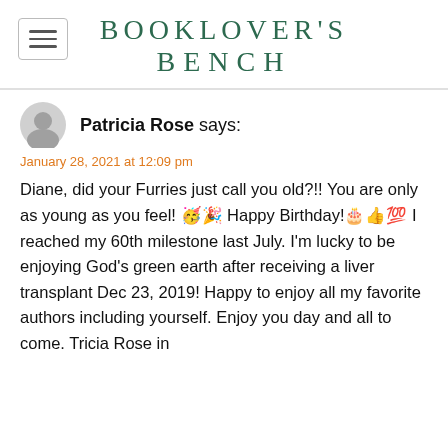BOOKLOVER'S BENCH
Patricia Rose says:
January 28, 2021 at 12:09 pm
Diane, did your Furries just call you old?!! You are only as young as you feel! 🥳🎉 Happy Birthday!🎂👍💯 I reached my 60th milestone last July. I'm lucky to be enjoying God's green earth after receiving a liver transplant Dec 23, 2019! Happy to enjoy all my favorite authors including yourself. Enjoy you day and all to come. Tricia Rose in